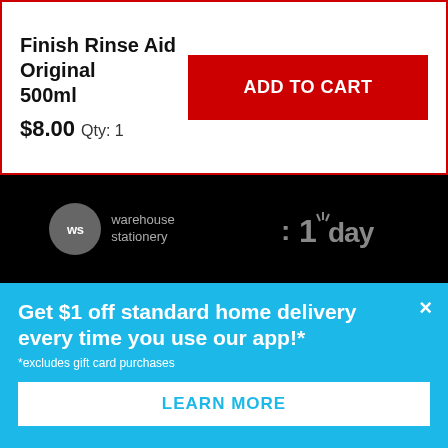Finish Rinse Aid Original 500ml
$8.00  Qty: 1
ADD TO CART
[Figure (logo): Warehouse Stationery logo — grey circle with 'ws' text, next to 'warehouse stationery' text, on black background]
[Figure (logo): 1-day logo — stylized ':1: day' text on black background]
[Figure (logo): Torpedo7 logo — grey text on black background]
[Figure (logo): THE MARKET logo — grey arrow/chevron shape with 'THE MARKET' text]
[Figure (logo): Noel Leeming logo — circular 'nl' icon with 'noel leeming' text on black background]
Get $1 off standard home delivery every time you use our app!*
*excludes gift card purchases
LEARN MORE